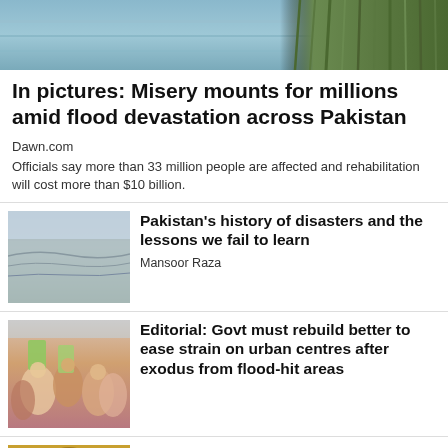[Figure (photo): Top image showing floodwater and reeds/grass along a waterway in Pakistan]
In pictures: Misery mounts for millions amid flood devastation across Pakistan
Dawn.com
Officials say more than 33 million people are affected and rehabilitation will cost more than $10 billion.
[Figure (photo): Flooded sandy/muddy area with overcast sky]
Pakistan's history of disasters and the lessons we fail to learn
Mansoor Raza
[Figure (photo): Crowd of people receiving aid or food distribution after floods]
Editorial: Govt must rebuild better to ease strain on urban centres after exodus from flood-hit areas
[Figure (photo): Cryptocurrency coin (Bitcoin) image]
Has Pakistan's crypto currency moment